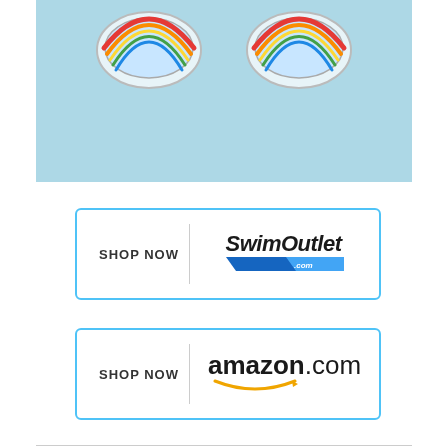[Figure (photo): Partial view of swimming goggles on a light blue background, showing two goggle lenses with colorful frames, top portion cut off]
[Figure (other): Shop Now button for SwimOutlet.com with blue border, showing SHOP NOW text on left and SwimOutlet.com logo on right]
[Figure (other): Shop Now button for Amazon.com with blue border, showing SHOP NOW text on left and amazon.com logo on right]
2. Arena Cobra Ultra Swipe Goggles